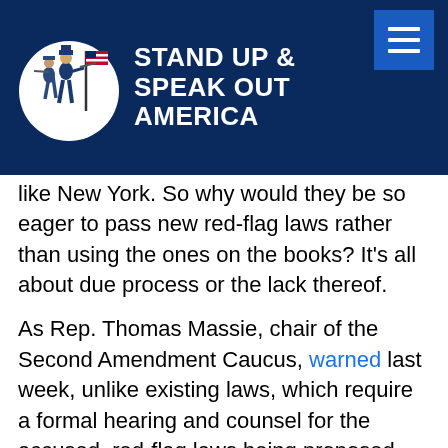STAND UP & SPEAK OUT AMERICA
like New York. So why would they be so eager to pass new red-flag laws rather than using the ones on the books? It’s all about due process or the lack thereof.
As Rep. Thomas Massie, chair of the Second Amendment Caucus, warned last week, unlike existing laws, which require a formal hearing and counsel for the accused, red-flag laws being proposed could strip people of their rights based on a written complaint from a neighbor alone. We have already witnessed so many doctors who prescribed ivermectin